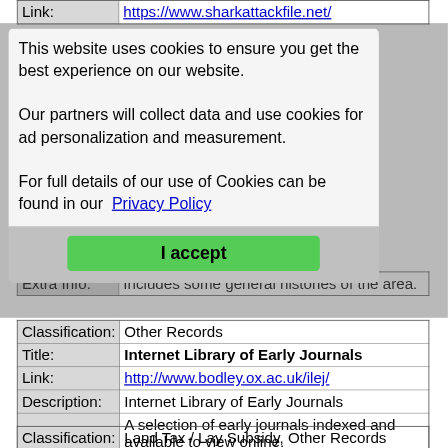| Link: |  |
| --- | --- |
| Link: | https://www.sharkattackfile.net/ |
This website uses cookies to ensure you get the best experience on our website.
Our partners will collect data and use cookies for ad personalization and measurement.
For full details of our use of Cookies can be found in our Privacy Policy
I accept
| Extra Info: | Includes some general histories of the area. |
| Classification: | Other Records |
| Title: | Internet Library of Early Journals |
| Link: | http://www.bodley.ox.ac.uk/ilej/ |
| Description: | Internet Library of Early Journals |
| Extra Info: | A selection of early journals indexed and available to view online. |
| Classification: | Land Tax / Lay Subsidy, Other Records |